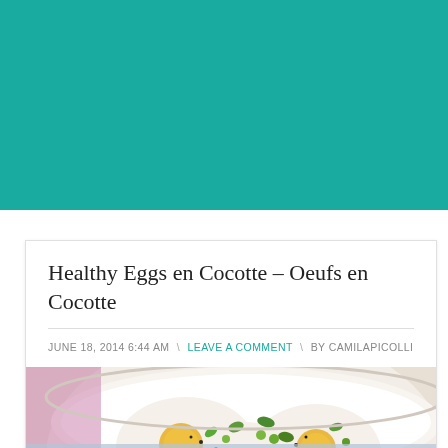[Figure (photo): Teal/green header banner background at the top of the page]
Healthy Eggs en Cocotte – Oeufs en Cocotte
JUNE 18, 2014 6:44 AM  \  LEAVE A COMMENT  \  BY CAMILAPICOLLI
[Figure (photo): Close-up food photograph of eggs en cocotte (baked eggs in a white ramekin with vegetables and black pepper), with a semi-transparent blue-grey overlay banner across the lower portion of the image displaying the text 'Healthy Egg en Co' in white italic script font]